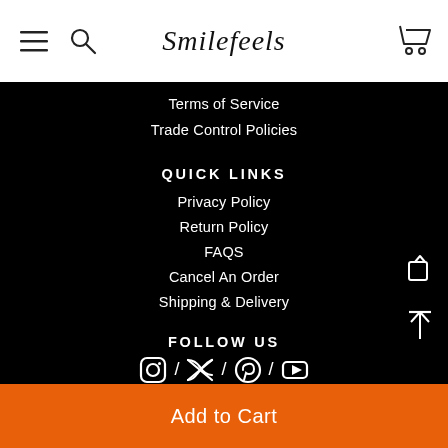Smilefeels
Terms of Service
Trade Control Policies
QUICK LINKS
Privacy Policy
Return Policy
FAQS
Cancel An Order
Shipping & Delivery
FOLLOW US
[Figure (illustration): Social media icons: Instagram, Twitter, Pinterest, YouTube]
Add to Cart